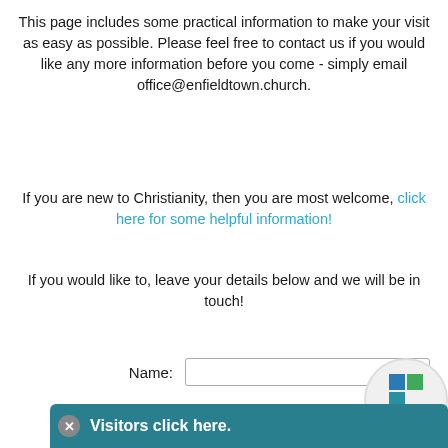This page includes some practical information to make your visit as easy as possible. Please feel free to contact us if you would like any more information before you come - simply email office@enfieldtown.church.
If you are new to Christianity, then you are most welcome, click here for some helpful information!
If you would like to, leave your details below and we will be in touch!
[Figure (other): Enfield Town Community Church circular logo with colored grid icon]
[Figure (other): Visitors click here button banner in teal with X close icon]